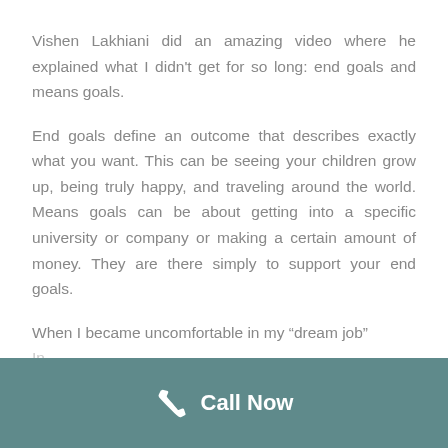Vishen Lakhiani did an amazing video where he explained what I didn't get for so long: end goals and means goals.
End goals define an outcome that describes exactly what you want. This can be seeing your children grow up, being truly happy, and traveling around the world. Means goals can be about getting into a specific university or company or making a certain amount of money. They are there simply to support your end goals.
When I became uncomfortable in my “dream job”
Call Now